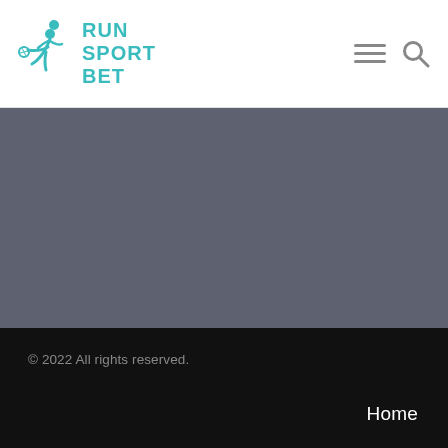RUN SPORT BET
[Figure (logo): RunSportBet logo with a soccer player kicking a ball in teal/cyan color, with text RUN SPORT BET to the right]
© 2022 All rights reserved.
Home
News
Contact